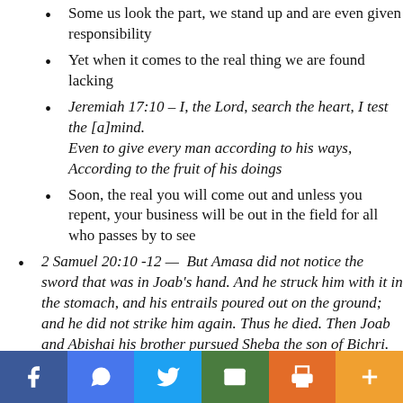Some us look the part, we stand up and are even given responsibility
Yet when it comes to the real thing we are found lacking
Jeremiah 17:10 – I, the Lord, search the heart, I test the [a]mind.
Even to give every man according to his ways,
According to the fruit of his doings
Soon, the real you will come out and unless you repent, your business will be out in the field for all who passes by to see
2 Samuel 20:10 -12 — But Amasa did not notice the sword that was in Joab's hand. And he struck him with it in the stomach, and his entrails poured out on the ground; and he did not strike him again. Thus he died. Then Joab and Abishai his brother pursued Sheba the son of Bichri. 11 Meanwhile one of Joab's men stood over Amasa and said, "Who wants from…"